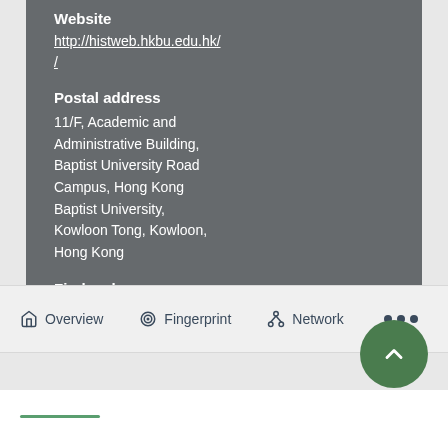Website
http://histweb.hkbu.edu.hk/
Postal address
11/F, Academic and Administrative Building, Baptist University Road Campus, Hong Kong Baptist University, Kowloon Tong, Kowloon, Hong Kong
Find us here
Overview  Fingerprint  Network  ...